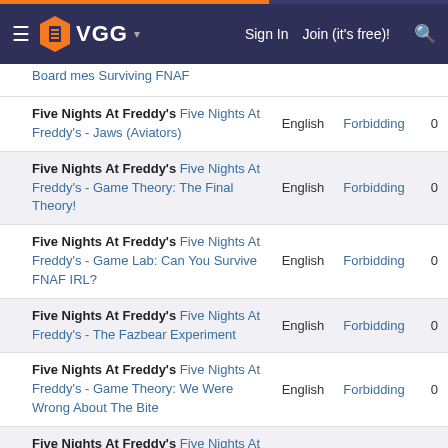VGG navigation bar with Sign In, Join (it's free)! links
Five Nights At Freddy's Five Nights At Freddy's - Jaws (Aviators) | English | Forbidding | 0
Five Nights At Freddy's Five Nights At Freddy's - Game Theory: The Final Theory! | English | Forbidding | 0
Five Nights At Freddy's Five Nights At Freddy's - Game Lab: Can You Survive FNAF IRL? | English | Forbidding | 0
Five Nights At Freddy's Five Nights At Freddy's - The Fazbear Experiment | English | Forbidding | 0
Five Nights At Freddy's Five Nights At Freddy's - Game Theory: We Were Wrong About The Bite | English | Forbidding | 0
1 Five Nights At Freddy's Five Nights At Freddy's - Jimquisition: A Lesson In Five Nights | English | Forbidding | 0
1 Five Nights At Freddy's Five Nights At Freddy's - Animated Song Biscuits | English | Forbidding | 0
Five Nights At Freddy's Five Nights At Freddy's - Fazbear's Pizza Place: | English | Forbidding | 0